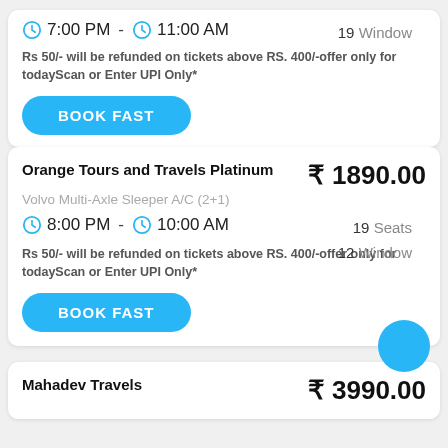7:00 PM - 11:00 AM   19 Window
Rs 50/- will be refunded on tickets above RS. 400/-offer only for todayScan or Enter UPI Only*
BOOK FAST
Orange Tours and Travels Platinum   ₹ 1890.00
Volvo Multi-Axle Sleeper A/C (2+1)
8:00 PM - 10:00 AM   19 Seats   12 Window
Rs 50/- will be refunded on tickets above RS. 400/-offer only for todayScan or Enter UPI Only*
BOOK FAST
Mahadev Travels   ₹ 3990.00